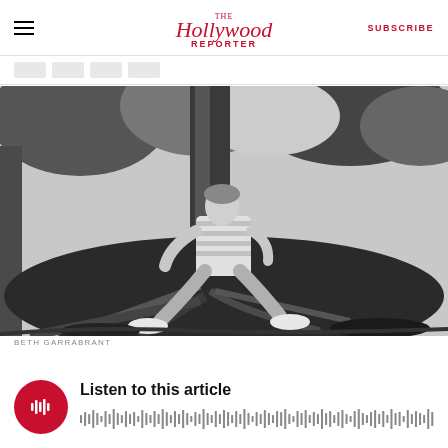The Hollywood Reporter — SUBSCRIBE
[Figure (photo): Black and white photograph of a young person in a striped long-sleeve shirt and jeans sitting against a large tree with exposed roots in a wooded outdoor setting. Photo credit: Beth Garrabrant.]
BETH GARRABRANT
Listen to this article